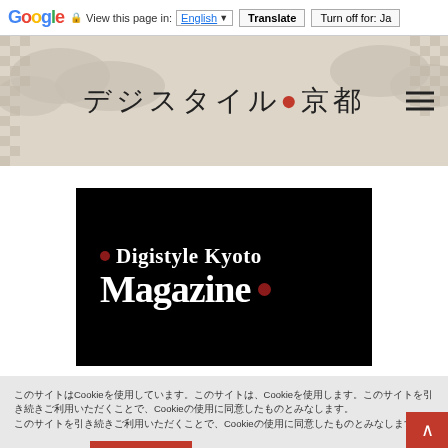Google | View this page in: English [▼] | Translate | Turn off for: Ja
[Figure (logo): Digistyle Kyoto website header with Japanese text デジスタイル 京都 and cloud/checkerboard decorative pattern]
[Figure (logo): Black rectangular banner with white serif text reading 'Digistyle Kyoto Magazine' with small red dots as accent marks]
このサイトはCookieを使用しています。このサイトは、Cookieを使用します。このサイトを引き続きご利用いただくことで、Cookieの使用に同意したものとみなします。
詳細はこちら | 同意して続ける